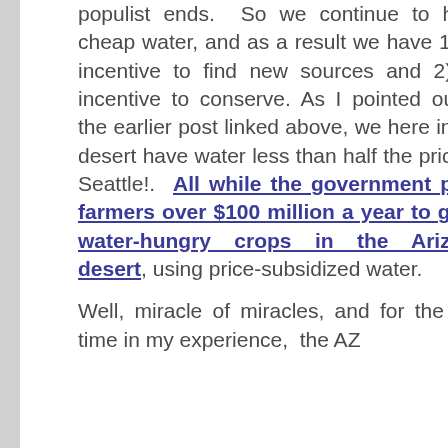populist ends. So we continue to have cheap water, and as a result we have 1) no incentive to find new sources and 2) no incentive to conserve. As I pointed out in the earlier post linked above, we here in the desert have water less than half the price of Seattle!. All while the government pays farmers over $100 million a year to grow water-hungry crops in the Arizona desert, using price-subsidized water.
Well, miracle of miracles, and for the first time in my experience, the AZ